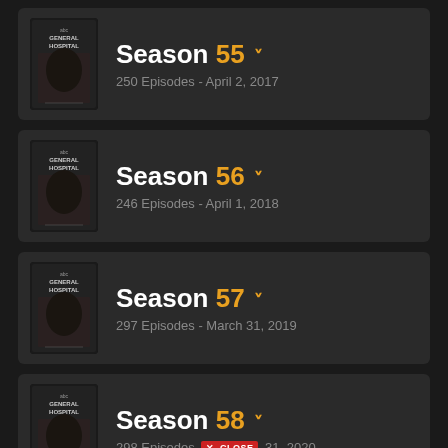Season 55 — 250 Episodes - April 2, 2017
Season 56 — 246 Episodes - April 1, 2018
Season 57 — 297 Episodes - March 31, 2019
Season 58 — 298 Episodes - March 31, 2020